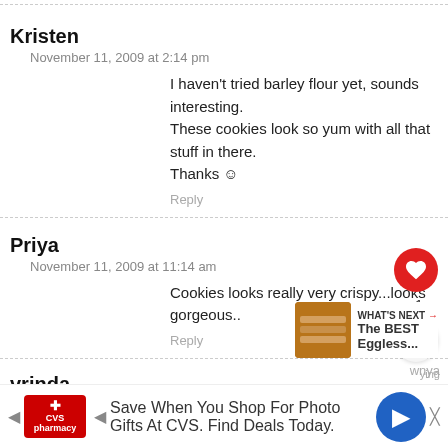Kristen
November 11, 2009 at 2:14 pm
I haven't tried barley flour yet, sounds interesting. These cookies look so yum with all that stuff in there. Thanks ☺
Reply
Priya
November 11, 2009 at 11:14 am
Cookies looks really very crispy...looks gorgeous..
Reply
vrinda
November 11, 2009 at 8:30 am
Gorgeous cookies Madhu...V r doing good,Akku
WHAT'S NEXT → The BEST Eggless...
Save When You Shop For Photo Gifts At CVS. Find Deals Today.